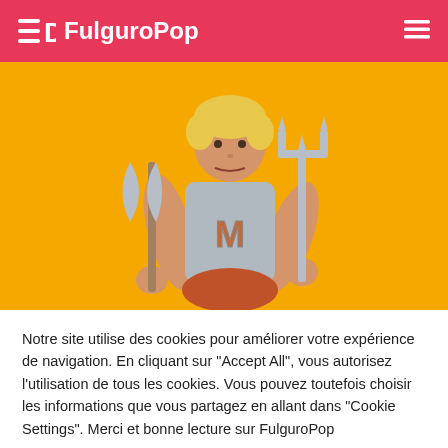FulguroPop
[Figure (photo): He-Man action figure toy holding a battle axe and a cross-shaped weapon, against a yellow/orange background]
Notre site utilise des cookies pour améliorer votre expérience de navigation. En cliquant sur "Accept All", vous autorisez l'utilisation de tous les cookies. Vous pouvez toutefois choisir les informations que vous partagez en allant dans "Cookie Settings". Merci et bonne lecture sur FulguroPop
Cookie Settings | Accept All